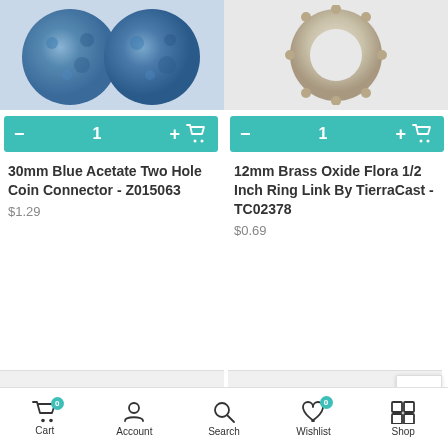[Figure (photo): Two blue acetate coin connectors with speckled blue pattern]
[Figure (photo): 12mm brass oxide flora ring link, circular donut shape with textured edge]
[Figure (screenshot): Teal add-to-cart bar with minus, quantity 1, plus, and cart icon for left product]
30mm Blue Acetate Two Hole Coin Connector - Z015063
$1.29
[Figure (screenshot): Teal add-to-cart bar with minus, quantity 1, plus, and cart icon for right product]
12mm Brass Oxide Flora 1/2 Inch Ring Link By TierraCast - TC02378
$0.69
[Figure (photo): Gray placeholder boxes for next product row]
Cart  Account  Search  Wishlist  Shop